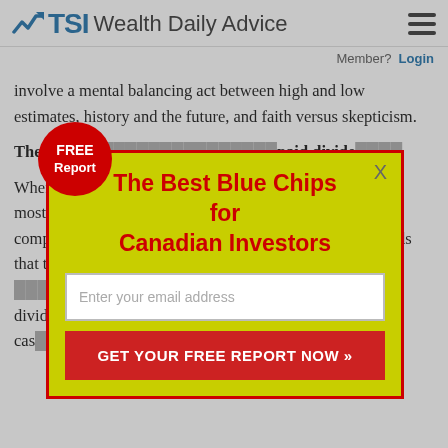TSI Wealth Daily Advice
Member?  Login
involve a mental balancing act between high and low estimates, history and the future, and faith versus skepticism.
The best blue-chip stocks have consistently paid dividends...
When... the most powerful... companies... dividends that the... are much... more, dividends... has the cash...
[Figure (infographic): Popup modal overlay on a financial article page. A circular red badge reads 'FREE Report'. A yellow modal with red border contains the title 'The Best Blue Chips for Canadian Investors' in red bold text, an email input field with placeholder 'Enter your email address', and a red button reading 'GET YOUR FREE REPORT NOW »'. A grey X close button is in the top right of the modal.]